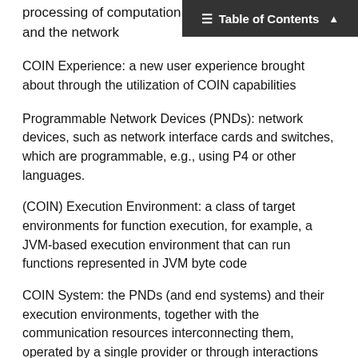Table of Contents
processing of computation and the network
COIN Experience: a new user experience brought about through the utilization of COIN capabilities
Programmable Network Devices (PNDs): network devices, such as network interface cards and switches, which are programmable, e.g., using P4 or other languages.
(COIN) Execution Environment: a class of target environments for function execution, for example, a JVM-based execution environment that can run functions represented in JVM byte code
COIN System: the PNDs (and end systems) and their execution environments, together with the communication resources interconnecting them, operated by a single provider or through interactions between multiple providers that jointly offer COIN capabilities
The key words "MUST", "MUST NOT", "REQUIRED", "SHALL", "SHALL NOT", "SHOULD", "SHOULD NOT",